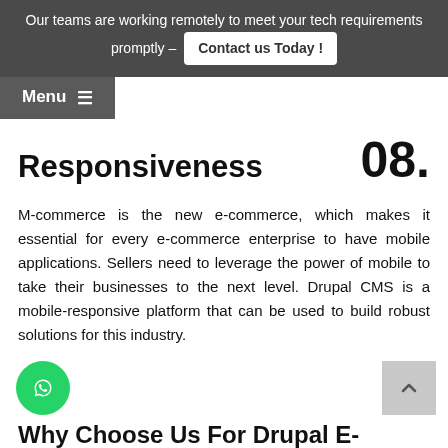Our teams are working remotely to meet your tech requirements promptly - Contact us Today!
Menu
Responsiveness 08.
M-commerce is the new e-commerce, which makes it essential for every e-commerce enterprise to have mobile applications. Sellers need to leverage the power of mobile to take their businesses to the next level. Drupal CMS is a mobile-responsive platform that can be used to build robust solutions for this industry.
Why Choose Us For Drupal E-Commerce